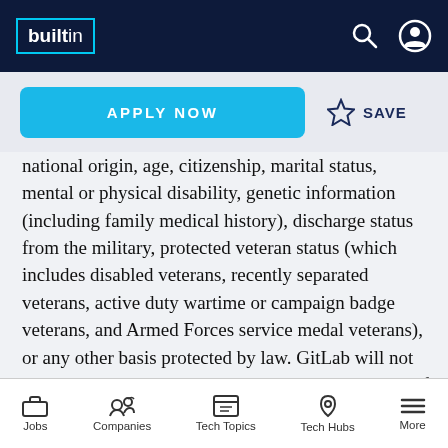builtin
APPLY NOW   ☆ SAVE
national origin, age, citizenship, marital status, mental or physical disability, genetic information (including family medical history), discharge status from the military, protected veteran status (which includes disabled veterans, recently separated veterans, active duty wartime or campaign badge veterans, and Armed Forces service medal veterans), or any other basis protected by law. GitLab will not tolerate discrimination or harassment based on any of these characteristics. See also GitLab's EEO Policy and EEO is the Law. If
Jobs | Companies | Tech Topics | Tech Hubs | More